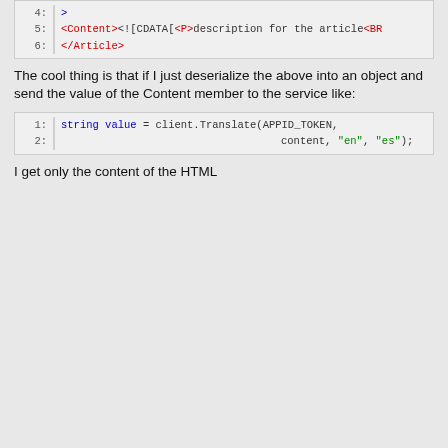[Figure (screenshot): Code block showing XML lines 4-6 with syntax highlighting. Line 4: '>', Line 5: '<Content><![CDATA[<P>description for the article<BR', Line 6: '</Article>']
The cool thing is that if I just deserialize the above into an object and send the value of the Content member to the service like:
[Figure (screenshot): Code block showing C# code lines 1-2: 'string value = client.Translate(APPID_TOKEN,' and 'content, "en", "es");']
I get only the content of the HTML